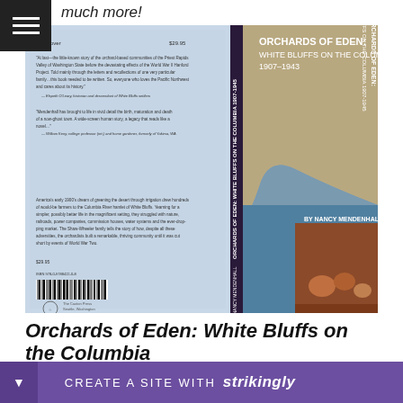much more!
[Figure (photo): Book cover of 'Orchards of Eden: White Bluffs on the Columbia 1907-1943' by Nancy Mendenhall. Shows bluffs along the Columbia River and a sepia-toned photo of people sorting fruit. Back cover has publisher blurbs and barcode.]
Orchards of Eden: White Bluffs on the Columbia 1907-1943
social history by Nancy Daniels...